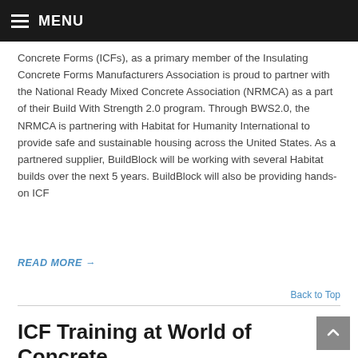MENU
Concrete Forms (ICFs), as a primary member of the Insulating Concrete Forms Manufacturers Association is proud to partner with the National Ready Mixed Concrete Association (NRMCA) as a part of their Build With Strength 2.0 program. Through BWS2.0, the NRMCA is partnering with Habitat for Humanity International to provide safe and sustainable housing across the United States. As a partnered supplier, BuildBlock will be working with several Habitat builds over the next 5 years. BuildBlock will also be providing hands-on ICF
READ MORE →
Back to Top
ICF Training at World of Concrete
On January 4, 2019 / ICFMA, Training
[Figure (photo): Partial image at bottom of page, cropped]